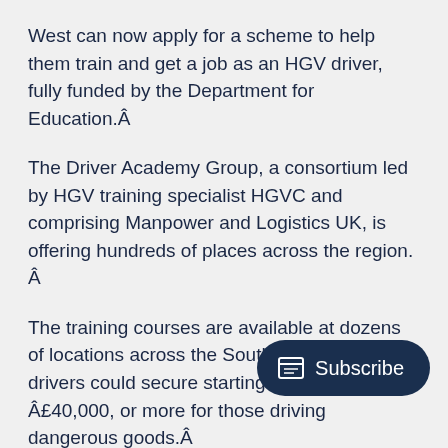West can now apply for a scheme to help them train and get a job as an HGV driver, fully funded by the Department for Education.Â
The Driver Academy Group, a consortium led by HGV training specialist HGVC and comprising Manpower and Logistics UK, is offering hundreds of places across the region. Â
The training courses are available at dozens of locations across the South West. Qualified drivers could secure starting salaries of up to Â£40,000, or more for those driving dangerous goods.Â
The Skills Bootcamps in HGV Driving are live and are open to anyone with a car license aged 19...